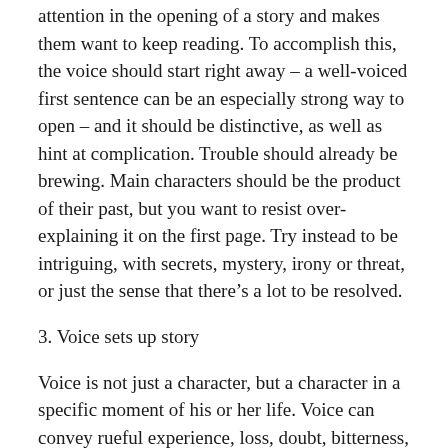attention in the opening of a story and makes them want to keep reading. To accomplish this, the voice should start right away – a well-voiced first sentence can be an especially strong way to open – and it should be distinctive, as well as hint at complication. Trouble should already be brewing. Main characters should be the product of their past, but you want to resist over-explaining it on the first page. Try instead to be intriguing, with secrets, mystery, irony or threat, or just the sense that there's a lot to be resolved.
3. Voice sets up story
Voice is not just a character, but a character in a specific moment of his or her life. Voice can convey rueful experience, loss, doubt, bitterness, pushback, broken courage – the kind of inner conflict that sets up a story. Consider the brilliant first sentence of Shirley Jackson's young adult mystery novel: We Have Always Lived in the